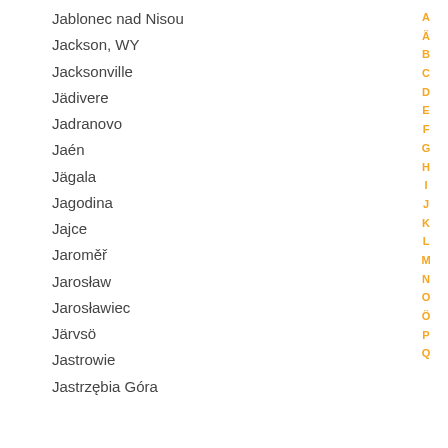Jablonec nad Nisou
Jackson, WY
Jacksonville
Jädivere
Jadranovo
Jaén
Jägala
Jagodina
Jajce
Jaroměř
Jarosław
Jarosławiec
Järvsö
Jastrowie
Jastrzębia Góra